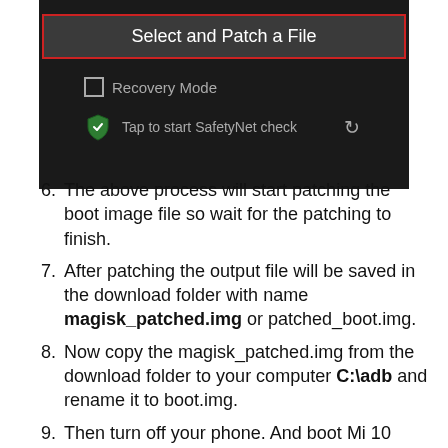[Figure (screenshot): Android app screenshot showing 'Select and Patch a File' button with red border, Recovery Mode checkbox, and 'Tap to start SafetyNet check' option on dark background]
6. The above process will start patching the boot image file so wait for the patching to finish.
7. After patching the output file will be saved in the download folder with name magisk_patched.img or patched_boot.img.
8. Now copy the magisk_patched.img from the download folder to your computer C:\adb and rename it to boot.img.
9. Then turn off your phone. And boot Mi 10